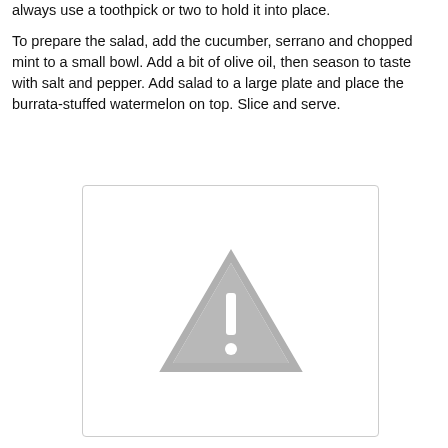always use a toothpick or two to hold it into place.
To prepare the salad, add the cucumber, serrano and chopped mint to a small bowl.  Add a bit of olive oil, then season to taste with salt and pepper.  Add salad to a large plate and place the burrata-stuffed watermelon on top.  Slice and serve.
[Figure (photo): Placeholder image with warning triangle icon indicating missing or unavailable image]